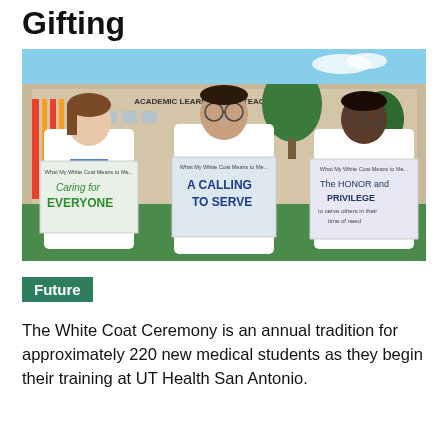Gifting
[Figure (photo): Three medical students in white coats standing outdoors in front of the Academic Learning and Teaching Center, each holding a sign reading 'What My White Coat Means to Me...' The left student's sign says 'Caring for EVERYONE', the center student's sign says 'A CALLING TO SERVE', and the right student's sign says 'The HONOR and PRIVILEGE to serve others in their time of need'.]
Future
The White Coat Ceremony is an annual tradition for approximately 220 new medical students as they begin their training at UT Health San Antonio.